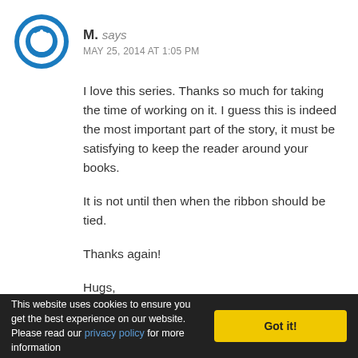[Figure (logo): Blue circular power/user avatar icon]
M. says
MAY 25, 2014 AT 1:05 PM
I love this series. Thanks so much for taking the time of working on it. I guess this is indeed the most important part of the story, it must be satisfying to keep the reader around your books.

It is not until then when the ribbon should be tied.

Thanks again!

Hugs,

M.
This website uses cookies to ensure you get the best experience on our website. Please read our privacy policy for more information